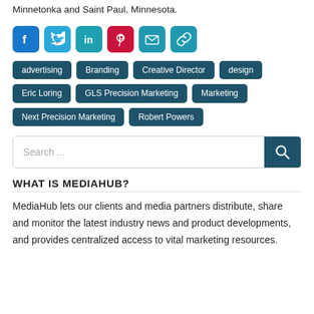Minnetonka and Saint Paul, Minnesota.
[Figure (infographic): Row of six social media/sharing icon buttons: Facebook (blue), Twitter (light blue), LinkedIn (teal), Pinterest (red), Email (teal envelope), Link (teal chain link)]
advertising
Branding
Creative Director
design
Eric Loring
GLS Precision Marketing
Marketing
Next Precision Marketing
Robert Powers
[Figure (other): Search input field with placeholder 'Search ...' and a dark teal search button with magnifying glass icon]
WHAT IS MEDIAHUB?
MediaHub lets our clients and media partners distribute, share and monitor the latest industry news and product developments, and provides centralized access to vital marketing resources.